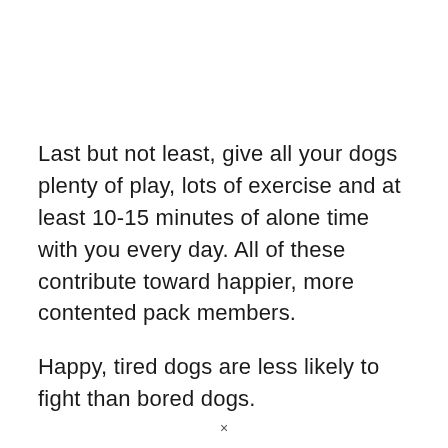Last but not least, give all your dogs plenty of play, lots of exercise and at least 10-15 minutes of alone time with you every day. All of these contribute toward happier, more contented pack members.
Happy, tired dogs are less likely to fight than bored dogs.
×